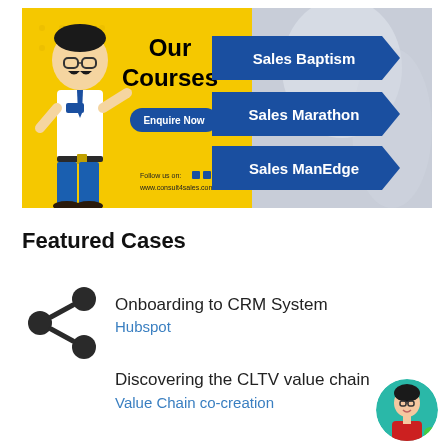[Figure (infographic): Yellow and blue banner for 'Our Courses' advertisement showing a cartoon salesman, text 'Our Courses', 'Enquire Now' button, social media icons, website URL, and three blue arrow-shaped course labels: Sales Baptism, Sales Marathon, Sales ManEdge]
Featured Cases
Onboarding to CRM System
Hubspot
Discovering the CLTV value chain
Value Chain co-creation